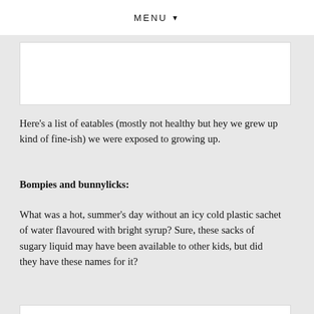MENU ▼
[Figure (other): White content box (top, partially visible)]
Here's a list of eatables (mostly not healthy but hey we grew up kind of fine-ish) we were exposed to growing up.
Bompies and bunnylicks:
What was a hot, summer's day without an icy cold plastic sachet of water flavoured with bright syrup? Sure, these sacks of sugary liquid may have been available to other kids, but did they have these names for it?
[Figure (other): White content box (bottom, partially visible)]